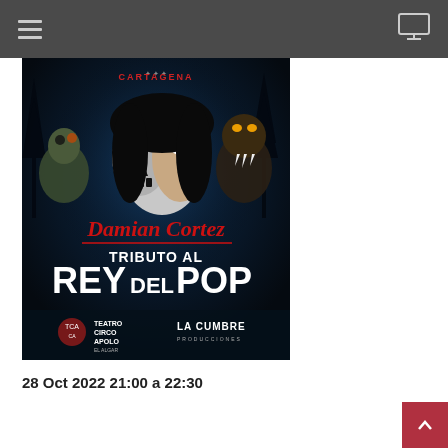Navigation header with hamburger menu and monitor icon
[Figure (illustration): Event poster for 'Damian Cortez – Tributo al Rey del Pop'. Dark horror-themed design featuring a figure with a skull half-face, red glowing eyes, surrounded by zombies and werewolf creatures against a dark blue/black gothic background with bats and bare trees. Text on poster: 'CARTAGENA', 'Damian Cortez' in red cursive script, 'TRIBUTO AL REY DEL POP' in large white bold text. Logos at bottom: Teatro Circo Apolo (El Algar) and La Cumbre Producciones.]
28 Oct 2022 21:00 a 22:30